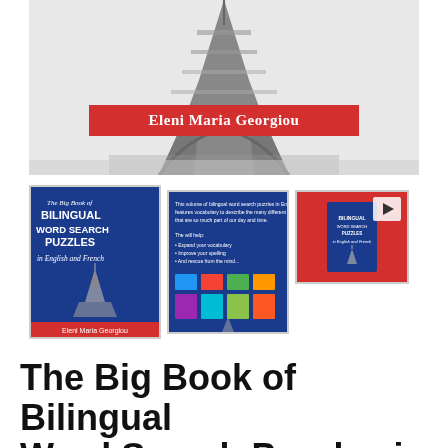[Figure (photo): Black and white photo of the Eiffel Tower viewed from below, with a red banner overlay showing author name 'Eleni Maria Georgiou']
[Figure (photo): Book cover thumbnail: 'The Big Book of Bilingual Word Search Puzzles in English and French' with blue cover and Eiffel Tower image]
[Figure (photo): Interior pages thumbnail showing bilingual word search puzzle book contents on blue background]
[Figure (photo): Video thumbnail on pink/red background showing book cover with a play button]
The Big Book of Bilingual Word Search Puzzles in